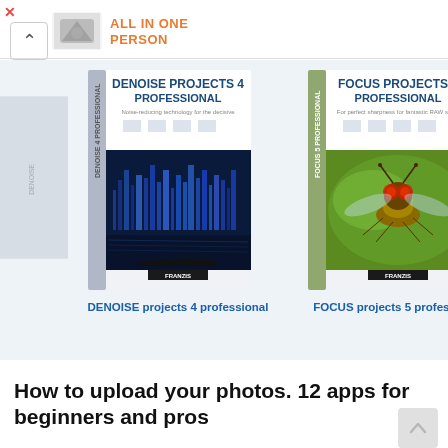[Figure (screenshot): Advertisement banner with close button (X), chevron/collapse button, logo image, and orange bold text reading ALL IN ONE PERSON]
[Figure (screenshot): Product carousel showing software boxes: DENOISE projects 4 professional and FOCUS projects 5 professional on a light blue background]
DENOISE projects 4 professional
FOCUS projects 5 professional
BLACK &
How to upload your photos. 12 apps for beginners and pros
To stand out among others and collect likes, you need to be able to make photos bright and memorable.
Windows
macos
HDR projects
DENO
Read more →